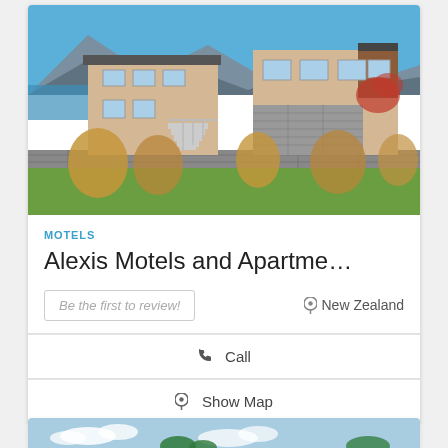[Figure (photo): Exterior photo of Alexis Motels and Apartments in New Zealand, showing a two-storey beige and stone building with mountains and a lake in the background, surrounded by ornamental grasses and gardens under a blue sky.]
MOTELS
Alexis Motels and Apartme…
Be the first to review!
New Zealand
Call
Show Map
[Figure (photo): Partial view of a second listing card showing sky and treetops.]